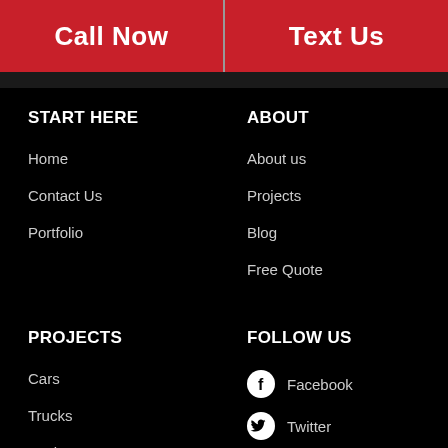Call Now | Text Us
START HERE
Home
Contact Us
Portfolio
ABOUT
About us
Projects
Blog
Free Quote
PROJECTS
Cars
Trucks
Marine
Store Fronts
FOLLOW US
Facebook
Twitter
Instagram
YouTube
Location
[Figure (photo): Small circular avatar photo of a woman with dark hair, smiling, in bottom right corner]